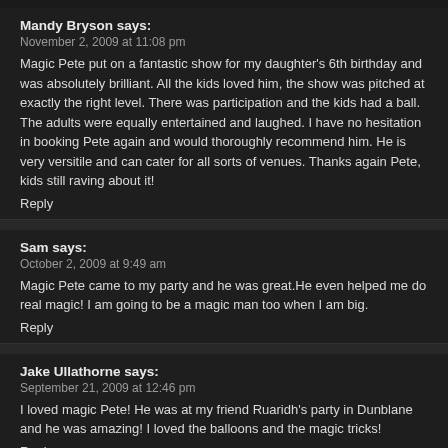Mandy Bryson says:
November 2, 2009 at 11:08 pm
Magic Pete put on a fantastic show for my daughter's 6th birthday and was absolutely brilliant. All the kids loved him, the show was pitched at exactly the right level. There was participation and the kids had a ball. The adults were equally entertained and laughed. I have no hesitation in booking Pete again and would thoroughly recommend him. He is very versitile and can cater for all sorts of venues. Thanks again Pete, kids still raving about it!
Reply
Sam says:
October 2, 2009 at 9:49 am
Magic Pete came to my party and he was great.He even helped me do real magic! I am going to be a magic man too when I am big.
Reply
Jake Ullathorne says:
September 21, 2009 at 12:46 pm
I loved magic Pete! He was at my friend Ruaridh's party in Dunblane and he was amazing! I loved the balloons and the magic tricks!
Reply